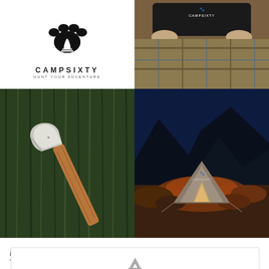[Figure (logo): CAMPSIXTY logo — bear paw with campfire icon above text CAMPSIXTY HUNT YOUR ADVENTURE, black on white background]
[Figure (photo): Person in flannel shirt holding a black CAMPSIXTY branded item up to camera outdoors]
[Figure (photo): Axe with wooden handle lying on green grass, small CAMPSIXTY logo on blade]
[Figure (photo): CAMPSIXTY branded tent illuminated at night in mountain landscape with warm fire light]
by gogocreative
90
[Figure (logo): Partial view of another logo at bottom of page]